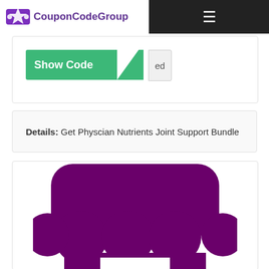[Figure (logo): CouponCodeGroup logo with ticket icon and purple text]
[Figure (screenshot): Green 'Show Code' button with arrow and partially revealed code text 'ed']
Details: Get Physcian Nutrients Joint Support Bundle
[Figure (illustration): Purple store/shop icon showing an awning with scalloped bottom edge and a storefront body below]